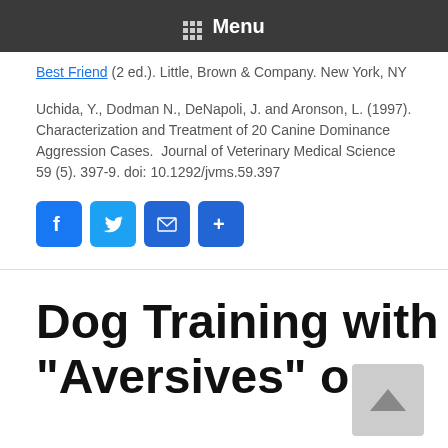Menu
Best Friend (2 ed.). Little, Brown & Company. New York, NY
Uchida, Y., Dodman N., DeNapoli, J. and Aronson, L. (1997). Characterization and Treatment of 20 Canine Dominance Aggression Cases.  Journal of Veterinary Medical Science 59 (5). 397-9. doi: 10.1292/jvms.59.397
[Figure (other): Social sharing buttons: Facebook, Twitter, Email, Share]
Dog Training with “Aversives” or